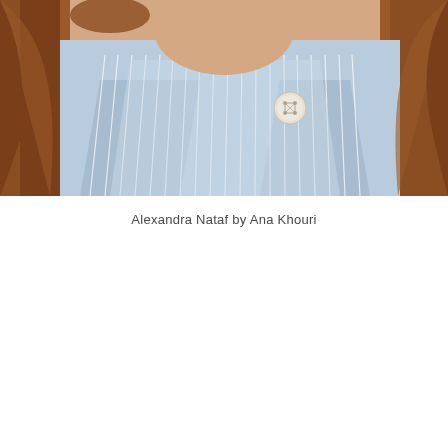[Figure (photo): Close-up photograph of a woman with auburn/red hair wearing a light blue striped shirt with a white button visible at the collar area. The image is cropped showing the lower face, neck, and collar region.]
Alexandra Nataf by Ana Khouri